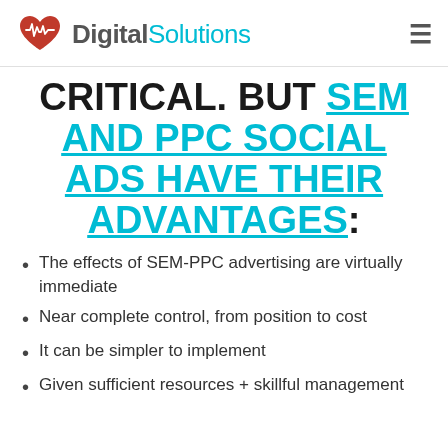Digital Solutions
CRITICAL. BUT SEM AND PPC SOCIAL ADS HAVE THEIR ADVANTAGES:
The effects of SEM-PPC advertising are virtually immediate
Near complete control, from position to cost
It can be simpler to implement
Given sufficient resources + skillful management